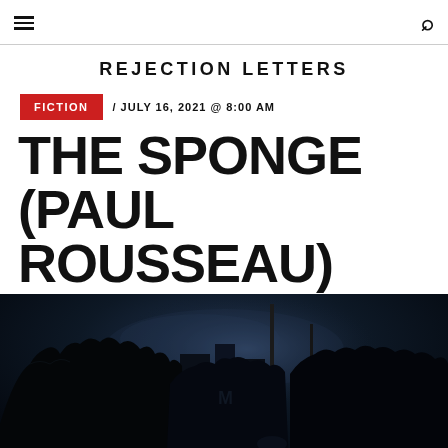≡  🔍
REJECTION LETTERS
FICTION / JULY 16, 2021 @ 8:00 AM
THE SPONGE (PAUL ROUSSEAU)
[Figure (photo): Dark nighttime cityscape with trees silhouetted against a dark blue sky, with a street scene and urban signage barely visible in low light.]